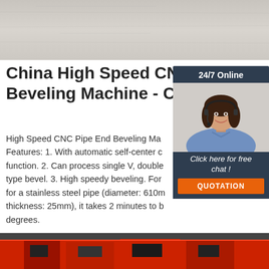[Figure (photo): Top portion of a gray/beige background image, likely a metal or wall surface]
China High Speed CNC Pipe Beveling Machine - China .
High Speed CNC Pipe End Beveling Ma... Features: 1. With automatic self-center c... function. 2. Can process single V, double... type bevel. 3. High speedy beveling. For... for a stainless steel pipe (diameter: 610m... thickness: 25mm), it takes 2 minutes to b... degrees.
[Figure (photo): Chat widget overlay with a woman wearing a headset, 24/7 Online text, Click here for free chat, and QUOTATION button]
[Figure (photo): Bottom portion showing red and black industrial machinery - CNC machine]
Get Price